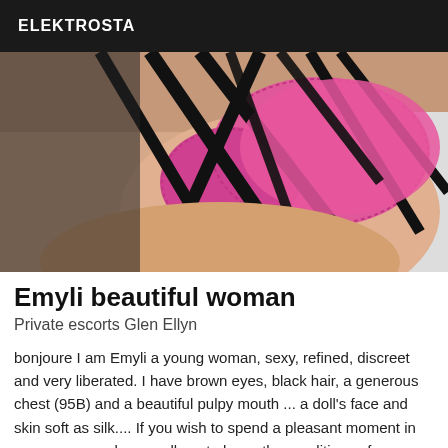ELEKTROSTA
[Figure (photo): Close-up photo of a woman wearing a pink lace bra with black strappy harness crossing her back and torso]
Emyli beautiful woman
Private escorts Glen Ellyn
bonjoure I am Emyli a young woman, sexy, refined, discreet and very liberated. I have brown eyes, black hair, a generous chest (95B) and a beautiful pulpy mouth ... a doll's face and skin soft as silk.... If you wish to spend a pleasant moment in my company, please call me to know the conditions of a meeting with me and to